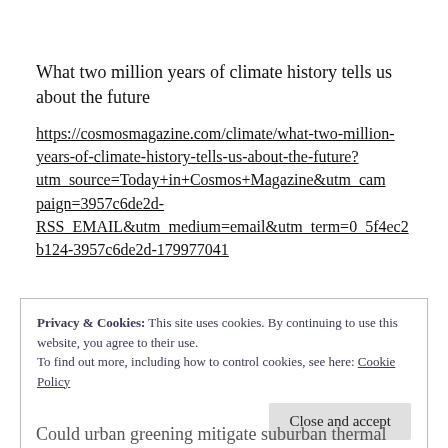What two million years of climate history tells us about the future
https://cosmosmagazine.com/climate/what-two-million-years-of-climate-history-tells-us-about-the-future?utm_source=Today+in+Cosmos+Magazine&utm_campaign=3957c6de2d-RSS_EMAIL&utm_medium=email&utm_term=0_5f4ec2b124-3957c6de2d-179977041
Privacy & Cookies: This site uses cookies. By continuing to use this website, you agree to their use.
To find out more, including how to control cookies, see here: Cookie Policy
Close and accept
Could urban greening mitigate suburban thermal